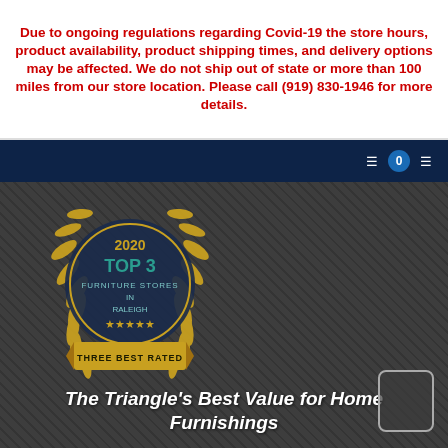Due to ongoing regulations regarding Covid-19 the store hours, product availability, product shipping times, and delivery options may be affected. We do not ship out of state or more than 100 miles from our store location. Please call (919) 830-1946 for more details.
[Figure (logo): 2020 Top 3 Furniture Stores in Raleigh - Three Best Rated award badge with golden laurel wreath]
The Triangle's Best Value for Home Furnishings